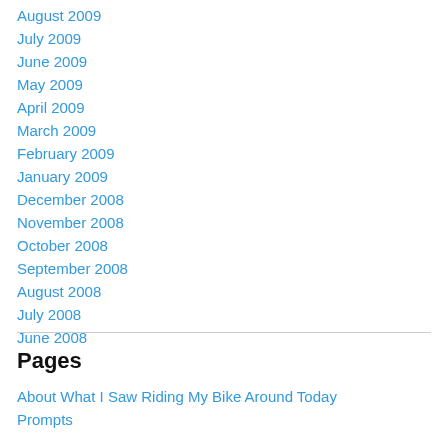August 2009
July 2009
June 2009
May 2009
April 2009
March 2009
February 2009
January 2009
December 2008
November 2008
October 2008
September 2008
August 2008
July 2008
June 2008
Pages
About What I Saw Riding My Bike Around Today
Prompts